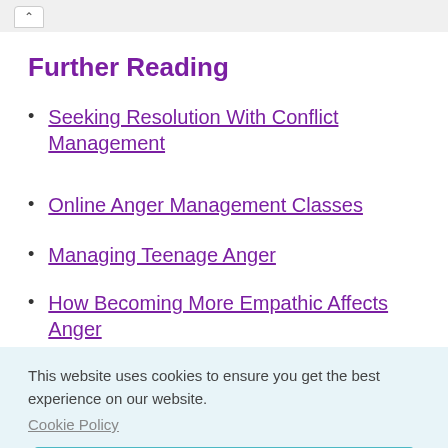Further Reading
Seeking Resolution With Conflict Management
Online Anger Management Classes
Managing Teenage Anger
How Becoming More Empathic Affects Anger
This website uses cookies to ensure you get the best experience on our website.
Cookie Policy
Got it!
Top Ten Tips for Managing Anger